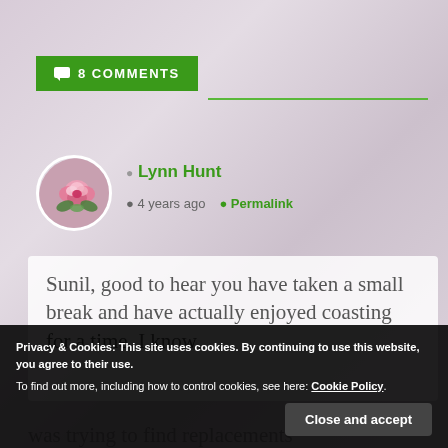8 COMMENTS
Lynn Hunt
4 years ago  Permalink
[Figure (photo): Circular avatar photo of a pink rose flower]
Sunil, good to hear you have taken a small break and have actually enjoyed coasting for a time. I know
was trying to find replacements
Privacy & Cookies: This site uses cookies. By continuing to use this website, you agree to their use.
To find out more, including how to control cookies, see here: Cookie Policy
Close and accept